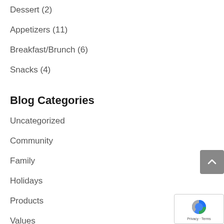Dessert (2)
Appetizers (11)
Breakfast/Brunch (6)
Snacks (4)
Blog Categories
Uncategorized
Community
Family
Holidays
Products
Values
Recipes
How to Cook